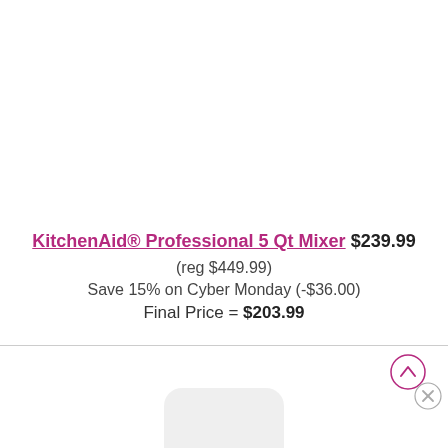KitchenAid® Professional 5 Qt Mixer $239.99 (reg $449.99) Save 15% on Cyber Monday (-$36.00) Final Price = $203.99